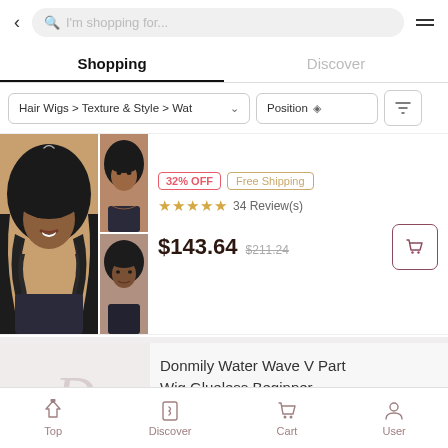< I'm shopping for... ☰
Shopping | Discover
Hair Wigs > Texture & Style > Wat∨  Position ◇  ▽
[Figure (photo): Product listing showing a woman with long curly black hair wig, with two smaller thumbnail images beside; 32% OFF and Free Shipping badges; 5 star rating with 34 Reviews; price $143.64 crossed out $211.24]
32% OFF  Free Shipping  ★★★★★ 34 Review(s)  $143.64  $211.24
Donmily Water Wave V Part Wig Glueless Beginner…
Top  Discover  Cart  User